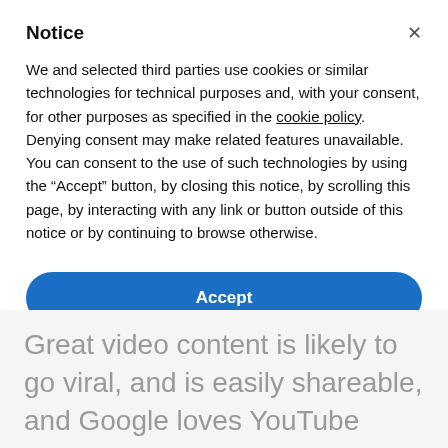Notice
We and selected third parties use cookies or similar technologies for technical purposes and, with your consent, for other purposes as specified in the cookie policy. Denying consent may make related features unavailable. You can consent to the use of such technologies by using the “Accept” button, by closing this notice, by scrolling this page, by interacting with any link or button outside of this notice or by continuing to browse otherwise.
Accept
Learn more and customize
Great video content is likely to go viral, and is easily shareable, and Google loves YouTube content